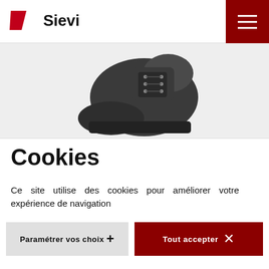[Figure (logo): Sievi logo with red diagonal stripes and bold Sievi text]
[Figure (photo): Close-up of a black safety boot/work boot against a light background]
Cookies
Ce site utilise des cookies pour améliorer votre expérience de navigation
Paramétrer vos choix+
Tout accepter ×